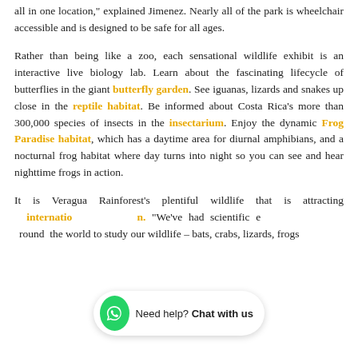all in one location," explained Jimenez. Nearly all of the park is wheelchair accessible and is designed to be safe for all ages.
Rather than being like a zoo, each sensational wildlife exhibit is an interactive live biology lab. Learn about the fascinating lifecycle of butterflies in the giant butterfly garden. See iguanas, lizards and snakes up close in the reptile habitat. Be informed about Costa Rica's more than 300,000 species of insects in the insectarium. Enjoy the dynamic Frog Paradise habitat, which has a daytime area for diurnal amphibians, and a nocturnal frog habitat where day turns into night so you can see and hear nighttime frogs in action.
It is Veragua Rainforest's plentiful wildlife that is attracting international attention. "We've had scientific experts come from around the world to study our wildlife – bats, crabs, lizards, frogs